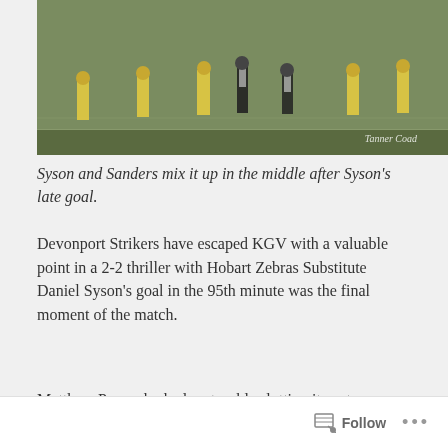[Figure (photo): Soccer players on a green pitch, wearing yellow and black/white striped kits. Photo credit: Tanner Coad.]
Syson and Sanders mix it up in the middle after Syson's late goal.
Devonport Strikers have escaped KGV with a valuable point in a 2-2 thriller with Hobart Zebras Substitute Daniel Syson's goal in the 95th minute was the final moment of the match.
Matthew Pace who had no trouble slotting it past Devonport keeper Nathan Pitchford on the stroke of half time.
[Figure (photo): Outdoor photo showing trees and sky with what appears to be a sports facility in the background.]
Follow  ...